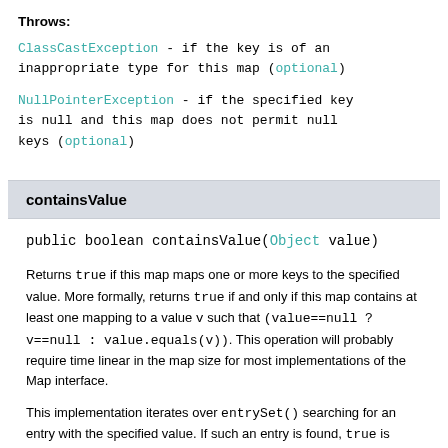Throws:
ClassCastException - if the key is of an inappropriate type for this map (optional)
NullPointerException - if the specified key is null and this map does not permit null keys (optional)
containsValue
public boolean containsValue(Object value)
Returns true if this map maps one or more keys to the specified value. More formally, returns true if and only if this map contains at least one mapping to a value v such that (value==null ? v==null : value.equals(v)). This operation will probably require time linear in the map size for most implementations of the Map interface.
This implementation iterates over entrySet() searching for an entry with the specified value. If such an entry is found, true is returned. If the